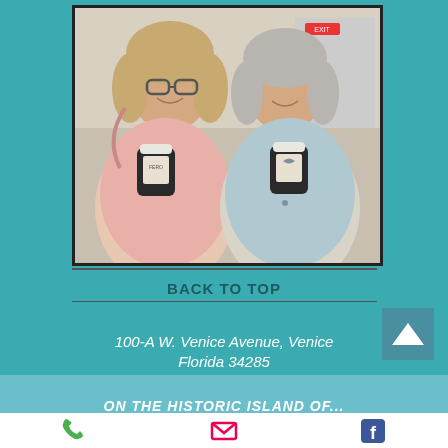[Figure (photo): Two women smiling and holding dark glass jars with labels, standing inside a store.]
BACK TO TOP
100-A W. Venice Avenue, Venice Florida 34285
ON THE HISTORIC ISLAND OF...
[Figure (infographic): Bottom icon bar with phone, email, and Facebook icons.]